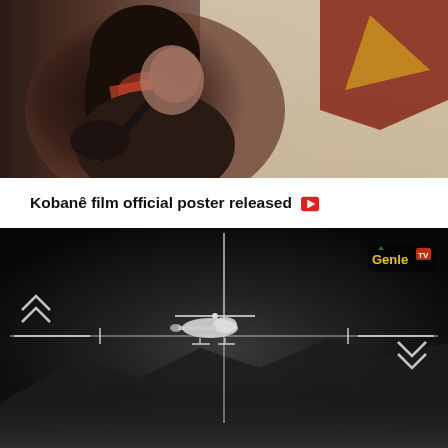[Figure (photo): A woman with dark hair and a colorful scarf, wearing dark clothing and a backpack, looking to the right. Behind her is what appears to be a flag with colorful markings (red/brown and golden yellow shapes).]
Kobanê film official poster released 🎥
[Figure (photo): A night-vision or thermal camera view (crosshair/scope overlay) showing a helicopter in the center with crosshairs over it. There are double-chevron arrows on the left and double-chevron arrows on the right. A small TV channel logo (Genle TV) is visible in the top-right. The background shows dark foggy mountains at the bottom.]